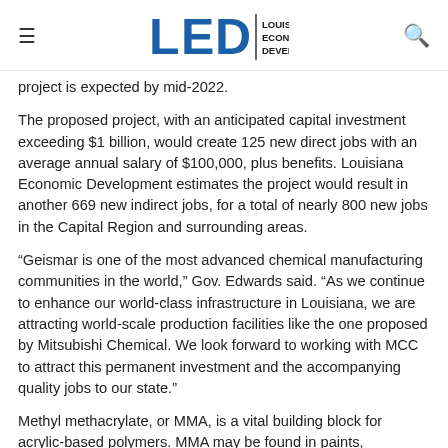LED Louisiana Economic Development
project is expected by mid-2022.
The proposed project, with an anticipated capital investment exceeding $1 billion, would create 125 new direct jobs with an average annual salary of $100,000, plus benefits. Louisiana Economic Development estimates the project would result in another 669 new indirect jobs, for a total of nearly 800 new jobs in the Capital Region and surrounding areas.
“Geismar is one of the most advanced chemical manufacturing communities in the world,” Gov. Edwards said. “As we continue to enhance our world-class infrastructure in Louisiana, we are attracting world-scale production facilities like the one proposed by Mitsubishi Chemical. We look forward to working with MCC to attract this permanent investment and the accompanying quality jobs to our state.”
Methyl methacrylate, or MMA, is a vital building block for acrylic-based polymers. MMA may be found in paints, adhesives, glazes, lighting displays, building panels, bath fixtures, flat-screen